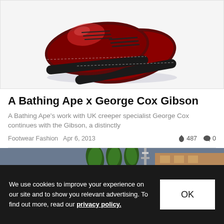[Figure (photo): Dark red/burgundy glossy oxford shoes with thick black soles, lace-up style, shown from above on white background]
A Bathing Ape x George Cox Gibson
A Bathing Ape's work with UK creeper specialist George Cox continues with the Gibson, a distinctly
Footwear Fashion  Apr 6, 2013  487  0
[Figure (photo): City street scene with palm trees and building against blue-gray sky]
We use cookies to improve your experience on our site and to show you relevant advertising. To find out more, read our privacy policy.